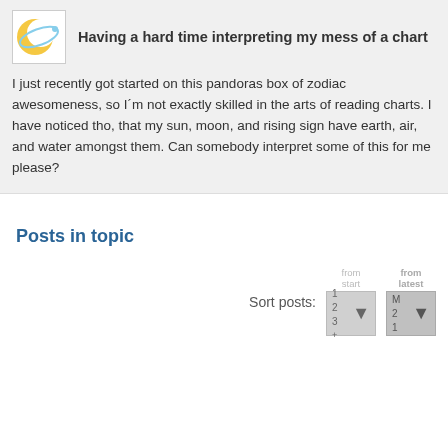Having a hard time interpreting my mess of a chart
I just recently got started on this pandoras box of zodiac awesomeness, so I´m not exactly skilled in the arts of reading charts. I have noticed tho, that my sun, moon, and rising sign have earth, air, and water amongst them. Can somebody interpret some of this for me please?
Posts in topic
Sort posts: